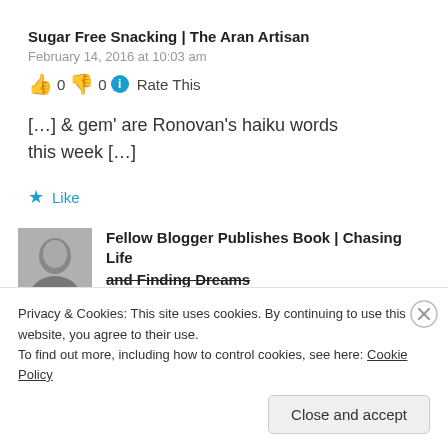Sugar Free Snacking | The Aran Artisan
February 14, 2016 at 10:03 am
👍 0 👎 0 ℹ Rate This
[…] & gem' are Ronovan's haiku words this week […]
★ Like
Fellow Blogger Publishes Book | Chasing Life and Finding Dreams
Privacy & Cookies: This site uses cookies. By continuing to use this website, you agree to their use. To find out more, including how to control cookies, see here: Cookie Policy
Close and accept